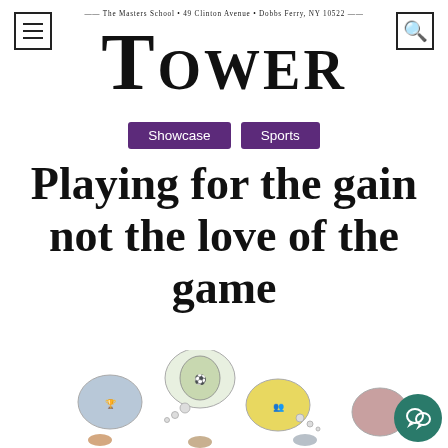The Masters School • 49 Clinton Avenue • Dobbs Ferry, NY 10522
Tower
Showcase  Sports
Playing for the gain not the love of the game
[Figure (illustration): Illustrated thought bubbles showing various sports logos and equipment, with diverse figures below thinking about sports organizations]